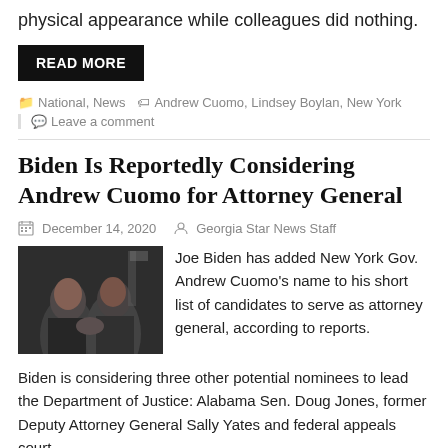physical appearance while colleagues did nothing.
READ MORE
National, News   Andrew Cuomo, Lindsey Boylan, New York
Leave a comment
Biden Is Reportedly Considering Andrew Cuomo for Attorney General
December 14, 2020   Georgia Star News Staff
[Figure (photo): Two men shaking hands, with American flags in background]
Joe Biden has added New York Gov. Andrew Cuomo's name to his short list of candidates to serve as attorney general, according to reports.
Biden is considering three other potential nominees to lead the Department of Justice: Alabama Sen. Doug Jones, former Deputy Attorney General Sally Yates and federal appeals court